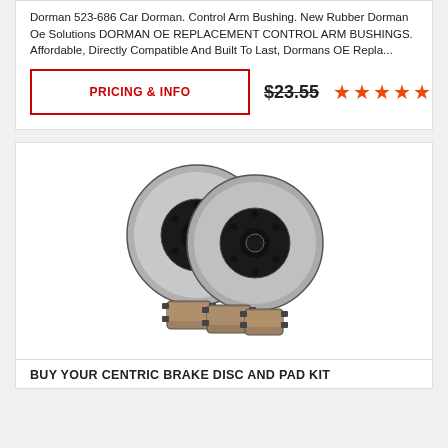Dorman 523-686 Car Dorman. Control Arm Bushing. New Rubber Dorman Oe Solutions DORMAN OE REPLACEMENT CONTROL ARM BUSHINGS. Affordable, Directly Compatible And Built To Last, Dormans OE Repla...
PRICING & INFO
$23.55 ★★★★★
[Figure (photo): Two brake rotors (disc brakes) shown side by side with a set of brake pads in front, on a white background.]
BUY YOUR CENTRIC BRAKE DISC AND PAD KIT